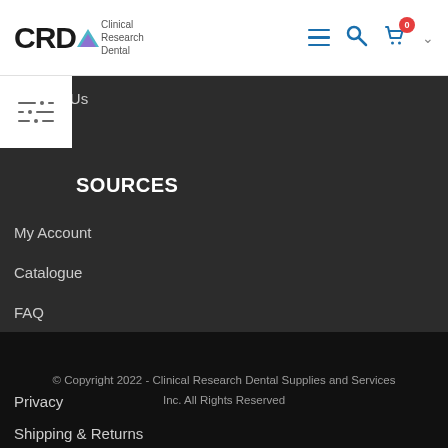CRD Clinical Research Dental
Contact Us
Careers
SOURCES
My Account
Catalogue
FAQ
POLICIES
Privacy
Shipping & Returns
© Copyright 2022 - Clinical Research Dental Supplies and Services Inc. All Rights Reserved